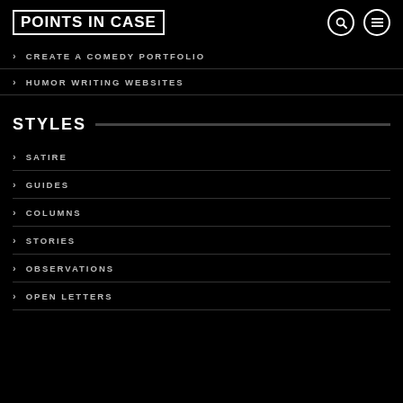POINTS IN CASE
CREATE A COMEDY PORTFOLIO
HUMOR WRITING WEBSITES
STYLES
SATIRE
GUIDES
COLUMNS
STORIES
OBSERVATIONS
OPEN LETTERS